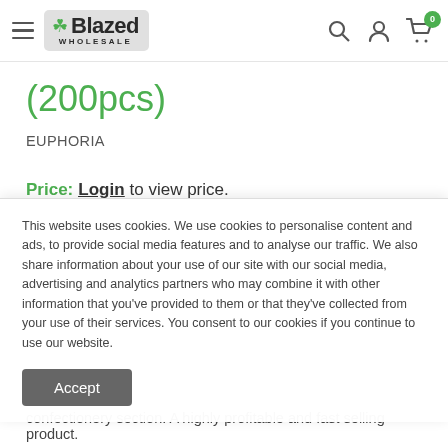Blazed Wholesale — navigation header with hamburger menu, logo, search, account, and cart icons
(200pcs)
EUPHORIA
Price: Login to view price.
This website uses cookies. We use cookies to personalise content and ads, to provide social media features and to analyse our traffic. We also share information about your use of our site with our social media, advertising and analytics partners who may combine it with other information that you've provided to them or that they've collected from your use of their services. You consent to our cookies if you continue to use our website.
Accept
confectionery section. A highly profitable and fast selling product.